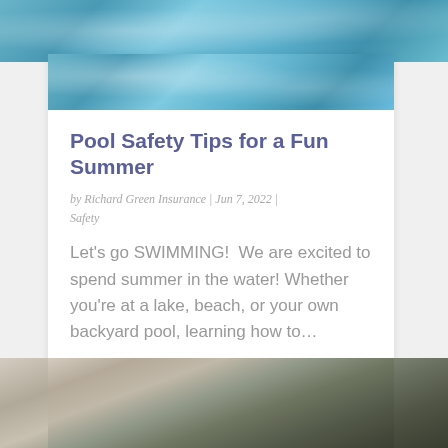[Figure (photo): Blue swimming pool water viewed from above, with light reflections creating wave patterns]
Pool Safety Tips for a Fun Summer
by Richard Green Insurance | Jun 7, 2022 |
Safety
Let's go SWIMMING!  We are excited to spend summer in the water! Whether you're at a lake, beach, or your own backyard pool, learning how to…
read more
[Figure (photo): Person near a car, partially visible at bottom of page]